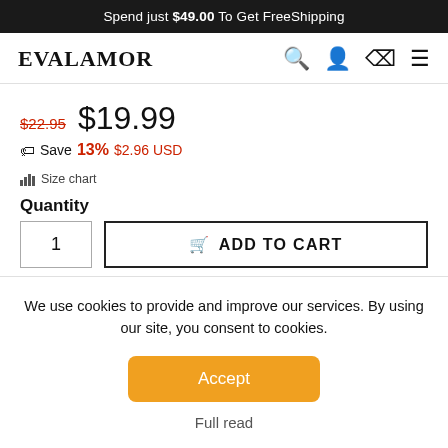Spend just $49.00 To Get FreeShipping
EVALAMOR
$22.95  $19.99
Save  13%  $2.96 USD
Size chart
Quantity
1  ADD TO CART
We use cookies to provide and improve our services. By using our site, you consent to cookies.
Accept
Full read